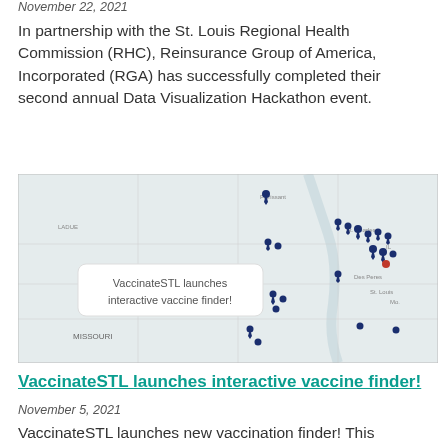November 22, 2021
In partnership with the St. Louis Regional Health Commission (RHC), Reinsurance Group of America, Incorporated (RGA) has successfully completed their second annual Data Visualization Hackathon event.
[Figure (map): Interactive map showing vaccine provider locations in the St. Louis, Missouri area. A white tooltip box overlaid on the map reads 'VaccinateSTL launches interactive vaccine finder!' with multiple dark blue map pin markers scattered across the region.]
VaccinateSTL launches interactive vaccine finder!
November 5, 2021
VaccinateSTL launches new vaccination finder! This interactive map allows users to click on providers!